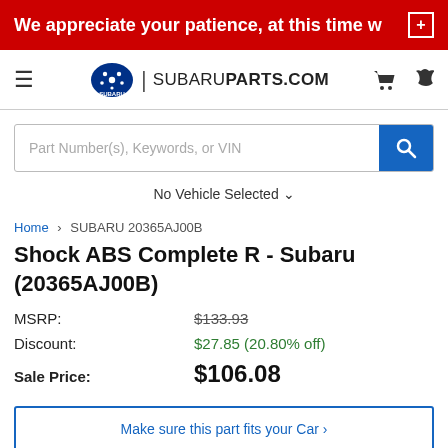We appreciate your patience, at this time w
[Figure (logo): Subaru Parts.com navigation bar with hamburger menu, Subaru star logo, SUBARUPARTS.COM text, cart and phone icons]
Part Number(s), Keywords, or VIN
No Vehicle Selected
Home > SUBARU 20365AJ00B
Shock ABS Complete R - Subaru (20365AJ00B)
MSRP: $133.93
Discount: $27.85 (20.80% off)
Sale Price: $106.08
Make sure this part fits your Car >
ADD TO CART